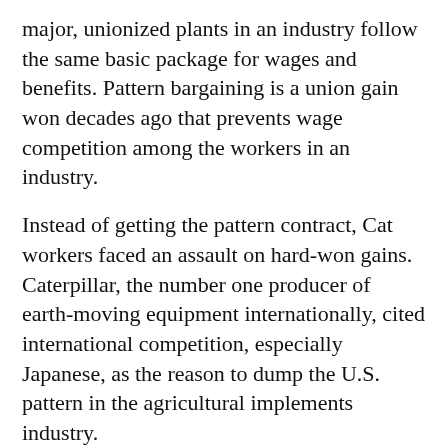major, unionized plants in an industry follow the same basic package for wages and benefits. Pattern bargaining is a union gain won decades ago that prevents wage competition among the workers in an industry.
Instead of getting the pattern contract, Cat workers faced an assault on hard-won gains. Caterpillar, the number one producer of earth-moving equipment internationally, cited international competition, especially Japanese, as the reason to dump the U.S. pattern in the agricultural implements industry.
What did Cat management demand? Here are some of the take-backs:
* A two-tier wage scale that brings in some new hires at $7/hour with an $8.50/hour maximum pay, a hefty cut from the existing $16/hour starting wage. This became a common corporate tactic in the 1980s: to pit older workers against younger, undermine